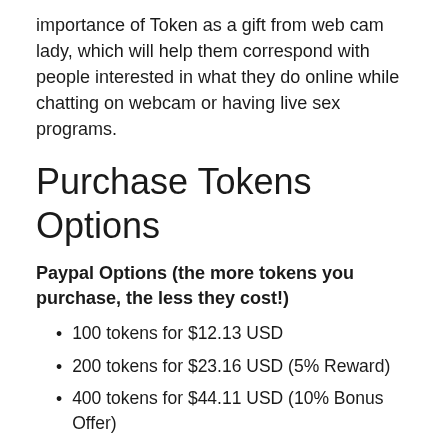importance of Token as a gift from web cam lady, which will help them correspond with people interested in what they do online while chatting on webcam or having live sex programs.
Purchase Tokens Options
Paypal Options (the more tokens you purchase, the less they cost!)
100 tokens for $12.13 USD
200 tokens for $23.16 USD (5% Reward)
400 tokens for $44.11 USD (10% Bonus Offer)